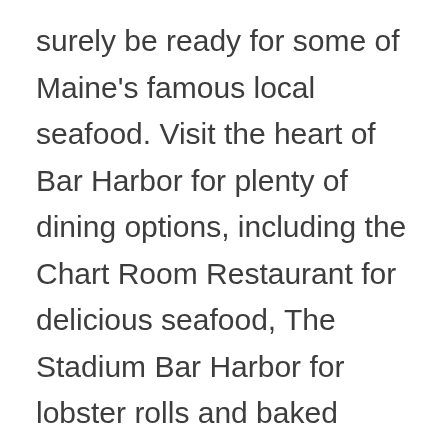surely be ready for some of Maine's famous local seafood. Visit the heart of Bar Harbor for plenty of dining options, including the Chart Room Restaurant for delicious seafood, The Stadium Bar Harbor for lobster rolls and baked goods, or seafood dishes combined with local craft beer at Leary's Landing Irish Pub.
After dinner, enjoy a stroll along the waterfront or relax in the village green. Find yourself some unique, handcrafted souvenirs along Main Street, or visit the